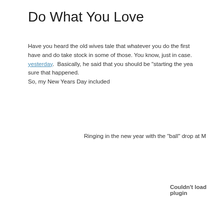Do What You Love
Have you heard the old wives tale that whatever you do the first have and do take stock in some of those. You know, just in case. yesterday.  Basically, he said that you should be "starting the yea sure that happened.
So, my New Years Day included
Ringing in the new year with the "ball" drop at M
Couldn't load plugin